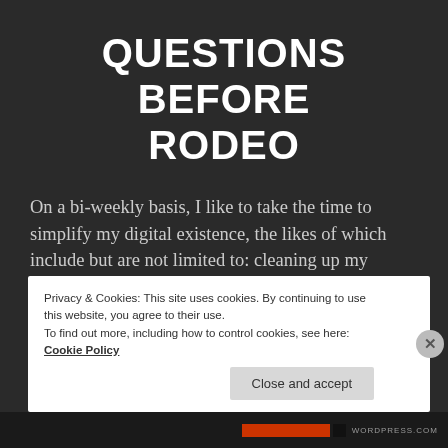QUESTIONS BEFORE RODEO
On a bi-weekly basis, I like to take the time to simplify my digital existence, the likes of which include but are not limited to: cleaning up my email, deleting any extraneous pictures off of my phone, erasing any drunk texts that I may have definitely sent (and subsequently regretted), and ridding my DMs of the
Privacy & Cookies: This site uses cookies. By continuing to use this website, you agree to their use.
To find out more, including how to control cookies, see here: Cookie Policy
Close and accept